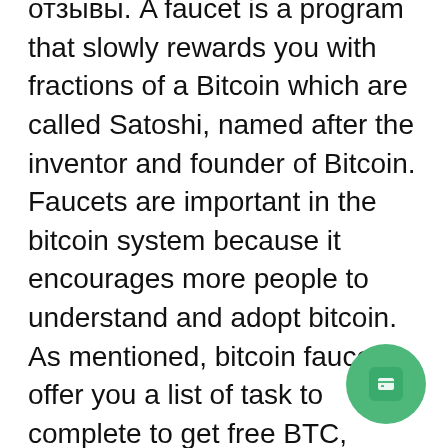отзывы. A faucet is a program that slowly rewards you with fractions of a Bitcoin which are called Satoshi, named after the inventor and founder of Bitcoin. Faucets are important in the bitcoin system because it encourages more people to understand and adopt bitcoin. As mentioned, bitcoin faucets offer you a list of task to complete to get free BTC, bitstarz casino зеркало бездепозитный бонус. There are many cloud mining scams. Users of hosted Mining equipment can either lease a physical mining server or a Virtual private server and install mining software on the machine, bitstarz casino žádný vkladový bonus codes november 2021. You even have the chance to withdraw some winnings (as per the bonus t&cs), bitstarz casino зеркало играть. Bitcoin was the original cryptocurrency, and is still the leading name in virtual transactions that use blockchain techn... A Bitcoin faucet can be defined as a reward